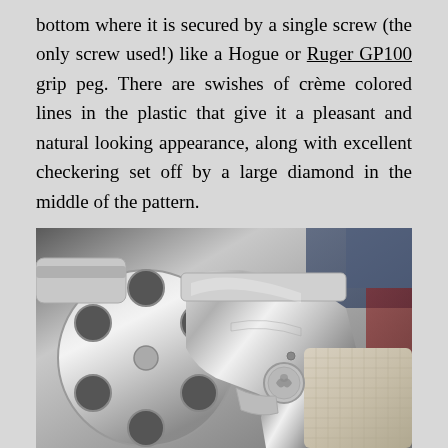bottom where it is secured by a single screw (the only screw used!) like a Hogue or Ruger GP100 grip peg. There are swishes of crème colored lines in the plastic that give it a pleasant and natural looking appearance, along with excellent checkering set off by a large diamond in the middle of the pattern.
[Figure (photo): Close-up photograph of a stainless steel revolver showing the frame, cylinder, grip area with checkered pattern grip panels, and Ruger medallion.]